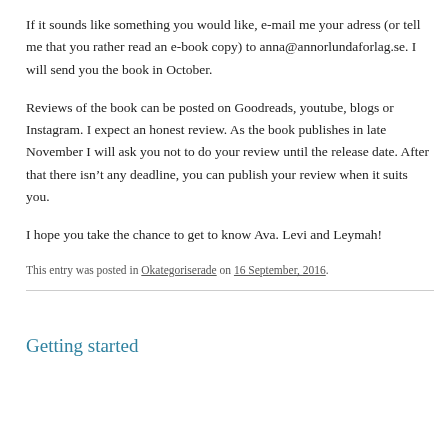If it sounds like something you would like, e-mail me your adress (or tell me that you rather read an e-book copy) to anna@annorlundaforlag.se. I will send you the book in October.
Reviews of the book can be posted on Goodreads, youtube, blogs or Instagram. I expect an honest review. As the book publishes in late November I will ask you not to do your review until the release date. After that there isn't any deadline, you can publish your review when it suits you.
I hope you take the chance to get to know Ava. Levi and Leymah!
This entry was posted in Okategoriserade on 16 September, 2016.
Getting started